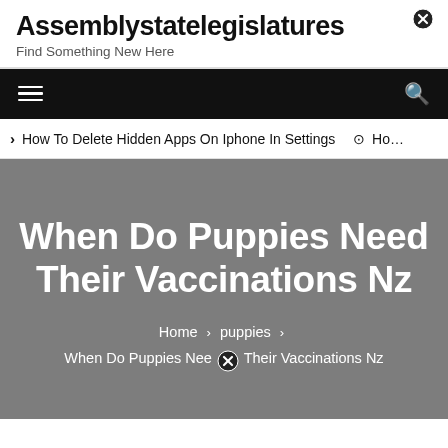Assemblystatelegislatures
Find Something New Here
How To Delete Hidden Apps On Iphone In Settings  ⊙ How
When Do Puppies Need Their Vaccinations Nz
Home > puppies > When Do Puppies Need Their Vaccinations Nz